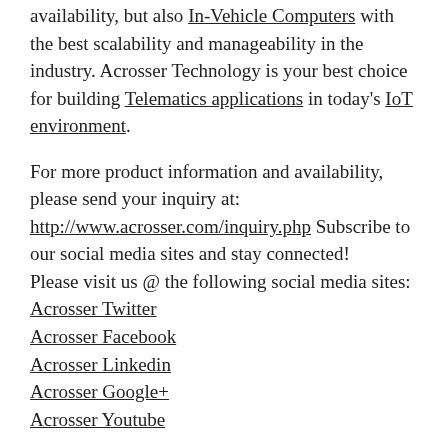availability, but also In-Vehicle Computers with the best scalability and manageability in the industry. Acrosser Technology is your best choice for building Telematics applications in today's IoT environment.
For more product information and availability, please send your inquiry at: http://www.acrosser.com/inquiry.php Subscribe to our social media sites and stay connected! Please visit us @ the following social media sites: Acrosser Twitter Acrosser Facebook Acrosser Linkedin Acrosser Google+ Acrosser Youtube
Gaming platform, Human Machine Interface, Multi-Bus Intelligent Vehicle...